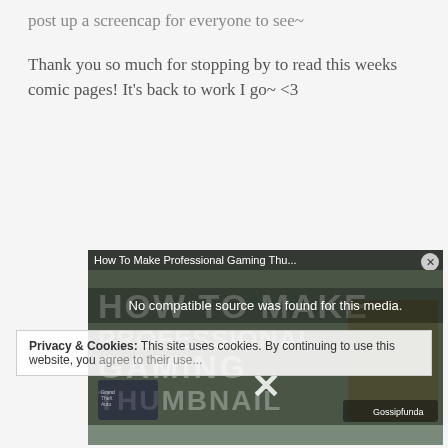post up a screencap for everyone to see~
Thank you so much for stopping by to read this weeks comic pages! It's back to work I go~ <3
[Figure (screenshot): Video player overlay showing 'How To Make Professional Gaming Thu...' with 'No compatible source was found for this media.' message and an X close button, overlaid on a gaming thumbnail image (GTA-style) with Gossipfunda branding.]
Privacy & Cookies: This site uses cookies. By continuing to use this website, you agree to their use...